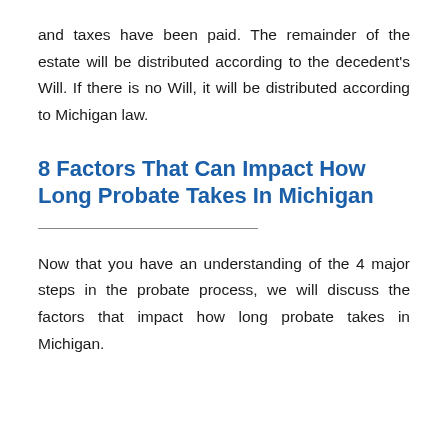and taxes have been paid. The remainder of the estate will be distributed according to the decedent's Will. If there is no Will, it will be distributed according to Michigan law.
8 Factors That Can Impact How Long Probate Takes In Michigan
Now that you have an understanding of the 4 major steps in the probate process, we will discuss the factors that impact how long probate takes in Michigan.